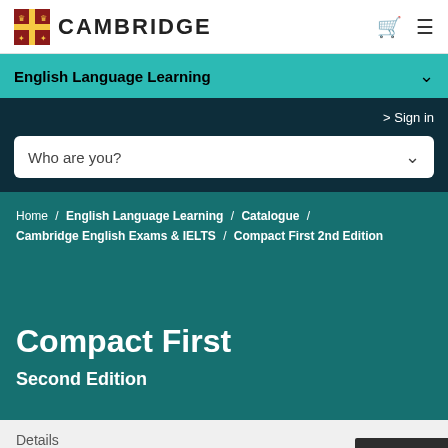[Figure (logo): Cambridge University Press logo with shield emblem and CAMBRIDGE text]
English Language Learning
Sign in
Who are you?
Home / English Language Learning / Catalogue / Cambridge English Exams & IELTS / Compact First 2nd Edition
Compact First
Second Edition
Details
Feedback